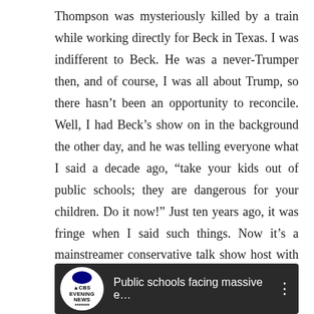Thompson was mysteriously killed by a train while working directly for Beck in Texas. I was indifferent to Beck. He was a never-Trumper then, and of course, I was all about Trump, so there hasn't been an opportunity to reconcile. Well, I had Beck's show on in the background the other day, and he was telling everyone what I said a decade ago, “take your kids out of public schools; they are dangerous for your children. Do it now!” Just ten years ago, it was fringe when I said such things. Now it’s a mainstreamer conservative talk show host with many millions of people listening to him daily saying it. Times have changed a lot, and people are finally starting to listen.
[Figure (screenshot): CBS Evening News video thumbnail showing title 'Public schools facing massive e...' with a three-dot menu icon on a dark background.]